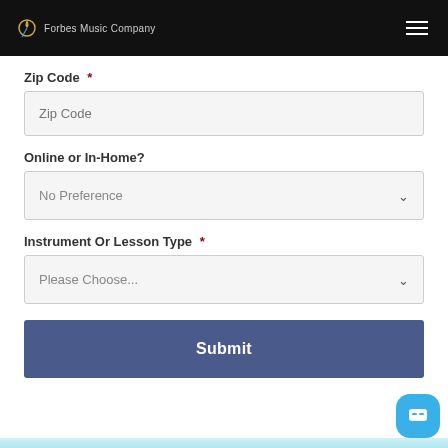Forbes Music Company
Zip Code *
Zip Code (input placeholder)
Online or In-Home?
No Preference (dropdown)
Instrument Or Lesson Type *
Please Choose... (dropdown)
Submit (button)